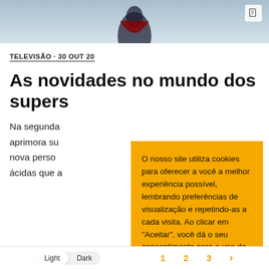[Figure (photo): Top hero image showing a person in costume against a grey-blue sky background, with a document icon in the top right corner]
TELEVISÃO · 30 OUT 20
As novidades no mundo dos supers
Na segunda... aprimora su... nova perso... ácidas que a...
O nosso site utiliza cookies para oferecer a você a melhor experiência possível, lembrando preferências de visualização e repetindo-as a cada visita. Ao clicar em "Aceitar", você dá o seu consentimento para o uso de TODOS os cookies.
Não vender as minhas infos..
Configurações  Aceitar